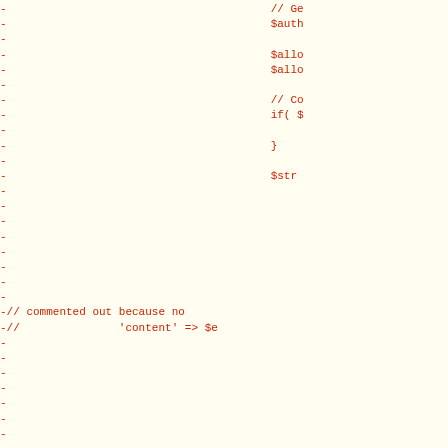Diff/code snippet showing removed lines (prefixed with -) of PHP code including $auth, $allo, $allo, // Co, if( $, }, $str, and commented-out lines: -// commented out because no, -//               'content' => $e, followed by more removed blank lines